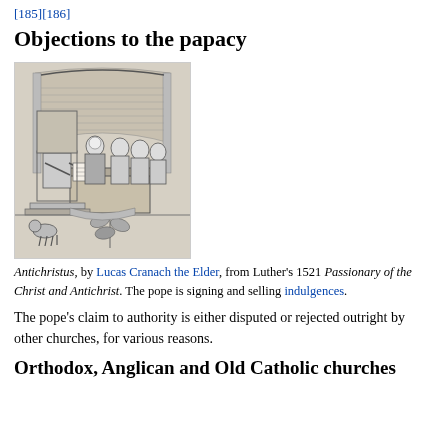[185][186]
Objections to the papacy
[Figure (illustration): A black and white woodcut illustration titled 'Antichristus' by Lucas Cranach the Elder, from Luther's 1521 Passionary of the Christ and Antichrist. The scene shows the pope seated on a throne signing documents, surrounded by clergy and laypeople, with a dog at the lower left.]
Antichristus, by Lucas Cranach the Elder, from Luther's 1521 Passionary of the Christ and Antichrist. The pope is signing and selling indulgences.
The pope's claim to authority is either disputed or rejected outright by other churches, for various reasons.
Orthodox, Anglican and Old Catholic churches